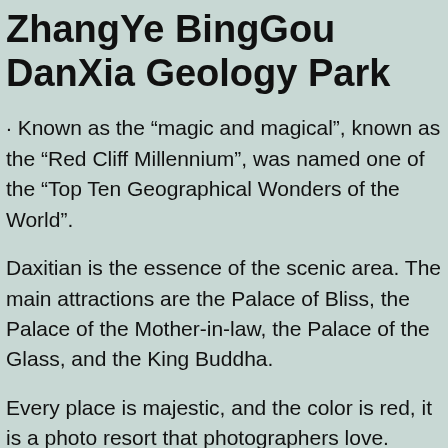ZhangYe BingGou DanXia Geology Park
· Known as the “magic and magical”, known as the “Red Cliff Millennium”, was named one of the “Top Ten Geographical Wonders of the World”.
Daxitian is the essence of the scenic area. The main attractions are the Palace of Bliss, the Palace of the Mother-in-law, the Palace of the Glass, and the King Buddha.
Every place is majestic, and the color is red, it is a photo resort that photographers love.